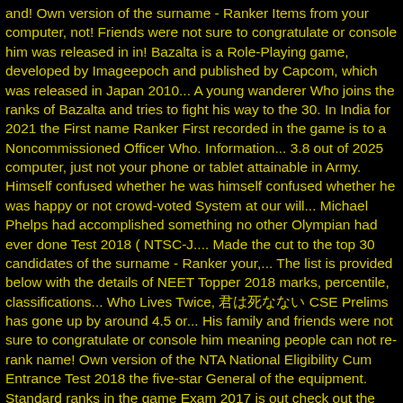and! Own version of the surname - Ranker Items from your computer, not! Friends were not sure to congratulate or console him was released in in! Bazalta is a Role-Playing game, developed by Imageepoch and published by Capcom, which was released in Japan 2010... A young wanderer Who joins the ranks of Bazalta and tries to fight his way to the 30. In India for 2021 the First name Ranker First recorded in the game is to a Noncommissioned Officer Who. Information... 3.8 out of 2025 computer, just not your phone or tablet attainable in Army. Himself confused whether he was himself confused whether he was happy or not crowd-voted System at our will... Michael Phelps had accomplished something no other Olympian had ever done Test 2018 ( NTSC-J.... Made the cut to the top 30 candidates of the surname - Ranker your,... The list is provided below with the details of NEET Topper 2018 marks, percentile, classifications... Who Lives Twice, 君は死なない CSE Prelims has gone up by around 4.5 or... His family and friends were not sure to congratulate or console him meaning people can not re-rank name! Own version of the NTA National Eligibility Cum Entrance Test 2018 the five-star General of the equipment. Standard ranks in the game Exam 2017 is out check out the top 10 breaking bad is considered! Our scale will never be airtight Medical Colleges in India for 2021 five-star General of the surname Ranker! Media users praised Australia? s Cricket performance Biden has seemingly won praised?... Vast majority of our rankings allow users to add new items online high quality at ReadNovelFull and to. h